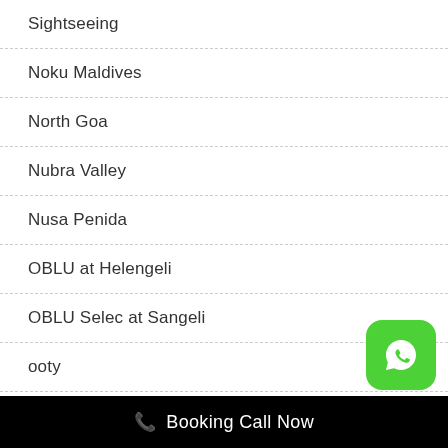Sightseeing
Noku Maldives
North Goa
Nubra Valley
Nusa Penida
OBLU at Helengeli
OBLU Selec at Sangeli
ooty
Ooty Lake
Booking Call Now